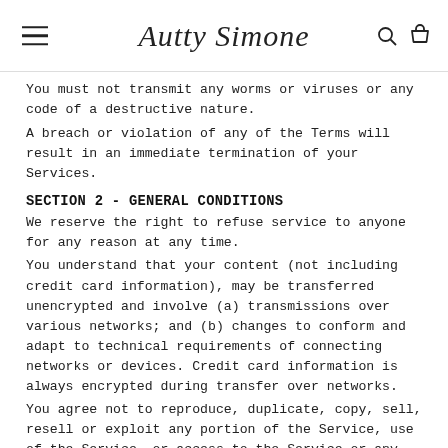Autty Simone
You must not transmit any worms or viruses or any code of a destructive nature.
A breach or violation of any of the Terms will result in an immediate termination of your Services.
SECTION 2 - GENERAL CONDITIONS
We reserve the right to refuse service to anyone for any reason at any time.
You understand that your content (not including credit card information), may be transferred unencrypted and involve (a) transmissions over various networks; and (b) changes to conform and adapt to technical requirements of connecting networks or devices. Credit card information is always encrypted during transfer over networks.
You agree not to reproduce, duplicate, copy, sell, resell or exploit any portion of the Service, use of the Service, or access to the Service or any contact on the website through